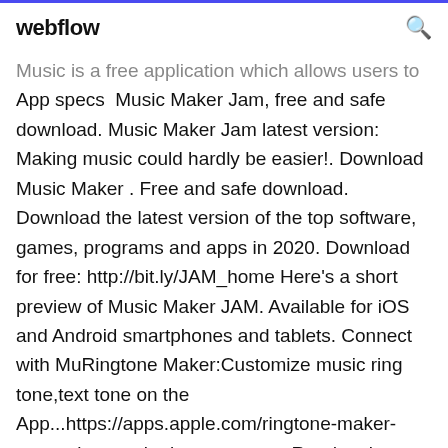webflow
Music is a free application which allows users to App specs  Music Maker Jam, free and safe download. Music Maker Jam latest version: Making music could hardly be easier!. Download Music Maker . Free and safe download. Download the latest version of the top software, games, programs and apps in 2020. Download for free: http://bit.ly/JAM_home Here's a short preview of Music Maker JAM. Available for iOS and Android smartphones and tablets. Connect with MuRingtone Maker:Customize music ring tone,text tone on the App...https://apps.apple.com/ringtone-maker-customize-music-ring-tone-text...Read reviews, compare customer ratings, see